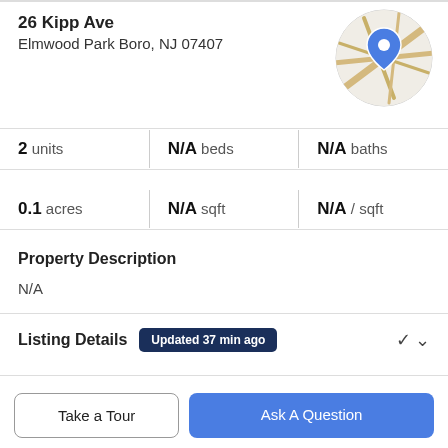26 Kipp Ave
Elmwood Park Boro, NJ 07407
[Figure (map): Circular map thumbnail with road lines and a blue location pin marker]
2 units | N/A beds | N/A baths
0.1 acres | N/A sqft | N/A / sqft
Property Description
N/A
Listing Details Updated 37 min ago
Features & Amenities
Take a Tour
Ask A Question